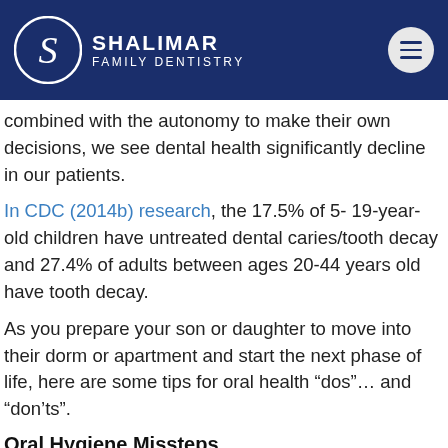Shalimar Family Dentistry
combined with the autonomy to make their own decisions, we see dental health significantly decline in our patients.
In CDC (2014b) research, the 17.5% of 5- 19-year-old children have untreated dental caries/tooth decay and 27.4% of adults between ages 20-44 years old have tooth decay.
As you prepare your son or daughter to move into their dorm or apartment and start the next phase of life, here are some tips for oral health “dos”… and “don’ts”.
Oral Hygiene Missteps
Using a toothbrush for too long or not long enough, or at the wrong angle can damage tooth and gums. If your son…